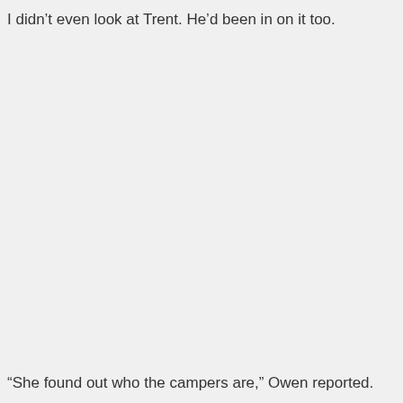I didn't even look at Trent. He'd been in on it too.
“She found out who the campers are,” Owen reported.